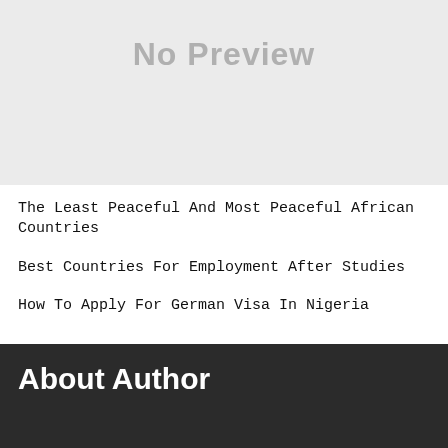[Figure (other): A light grey placeholder box displaying 'No Preview' text in large grey letters]
The Least Peaceful And Most Peaceful African Countries
Best Countries For Employment After Studies
How To Apply For German Visa In Nigeria
About Author